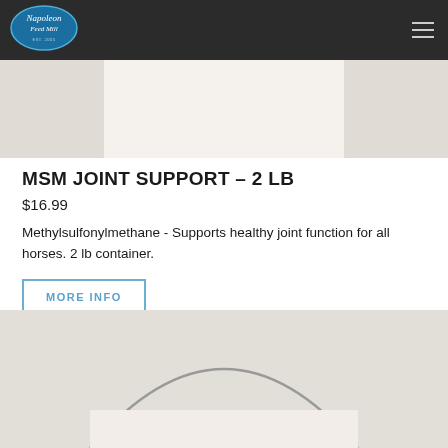Napoleon Feed Mill
[Figure (photo): Top partial product photo showing bottom of white container on light beige background]
MSM JOINT SUPPORT – 2 LB
$16.99
Methylsulfonylmethane - Supports healthy joint function for all horses. 2 lb container.
MORE INFO
[Figure (photo): Bottom product photo showing top arc/handle of a white container on light beige background]